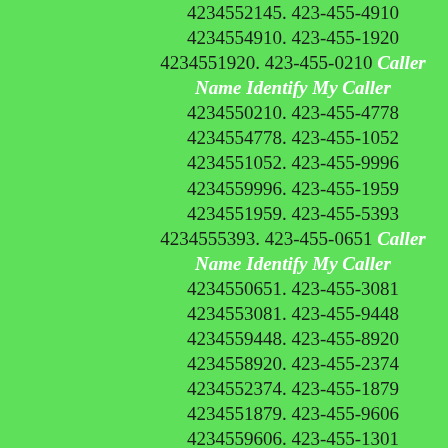4234552145. 423-455-4910 4234554910. 423-455-1920 4234551920. 423-455-0210 Caller Name Identify My Caller 4234550210. 423-455-4778 4234554778. 423-455-1052 4234551052. 423-455-9996 4234559996. 423-455-1959 4234551959. 423-455-5393 4234555393. 423-455-0651 Caller Name Identify My Caller 4234550651. 423-455-3081 4234553081. 423-455-9448 4234559448. 423-455-8920 4234558920. 423-455-2374 4234552374. 423-455-1879 4234551879. 423-455-9606 4234559606. 423-455-1301 4234551301. 423-455-7918 4234557918. 423-455-2158 4234552158. 423-455-4128 4234554128. 423-455-9083 4234559083. 423-455-3134 4234553134. 423-455-3089 4234553089. 423-455-2795 4234552795. 423-455-0400 Caller Name Identify My Caller 4234550400. 423-455-7848 4234557848. 423-455-1061